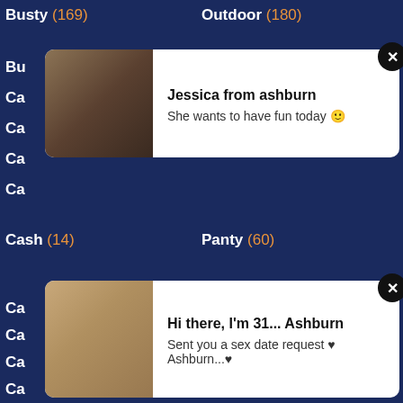Busty (169)
Outdoor (180)
Bu
Ca
Ca
Ca
Ca
Cash (14)
Panty (60)
[Figure (other): Popup notification card with photo of woman, text: Jessica from ashburn - She wants to have fun today]
Ca
Ca
Ca
Ca
[Figure (other): Popup notification card with photo of blonde woman, text: Hi there, I'm 31... Ashburn - Sent you a sex date request Ashburn...]
Censored (85)
Peeing (10)
Changing (4)
Penis (14)
Chat (21)
Perfect (41)
Cheating (110)
Pervert (23)
Cheerleader (9)
Petite (34)
Chick (61)
Philippine (0)
Chinese (31)
Phone (12)
Chubby (76)
Pickup (8)